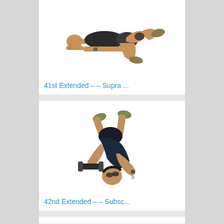[Figure (photo): Person lying flat on their back on the ground with knees bent, wearing dark athletic clothing and shoes, arms at sides — exercise demonstration photo]
41st Extended – – Supra ...
[Figure (photo): Person performing a side plank or rotational exercise on the ground, wearing dark athletic clothing and shoes, arms extended — exercise demonstration photo]
42nd Extended – – Subsc...